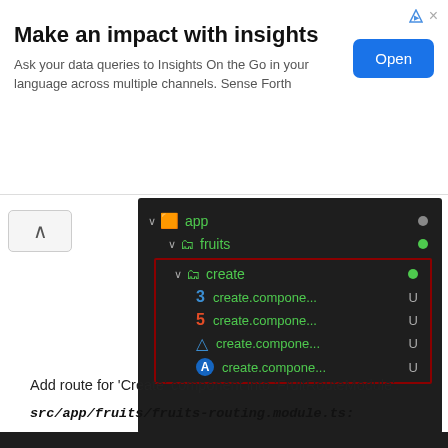[Figure (infographic): Advertisement banner: 'Make an impact with insights' with subtitle and Open button]
[Figure (screenshot): VS Code file explorer showing app > fruits > create folder with create.component files (CSS, HTML, spec.ts, ts) each marked with U]
Add route for 'Create' component into 'FruitRouteModule'.
src/app/fruits/fruits-routing.module.ts: